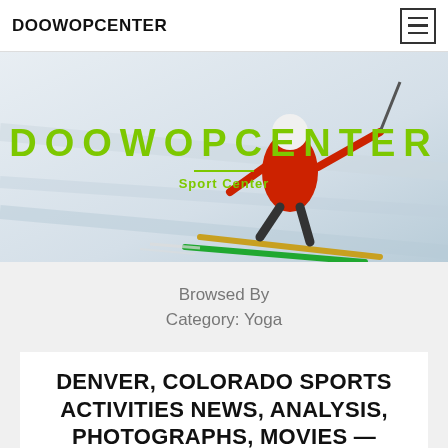DOOWOPCENTER
[Figure (photo): Skier in red jacket and white helmet skiing downhill on snow slope with DOOWOPCENTER Sport Center text overlay in green]
DOOWOPCENTER
Sport Center
Browsed By Category: Yoga
DENVER, COLORADO SPORTS ACTIVITIES NEWS, ANALYSIS, PHOTOGRAPHS, MOVIES —